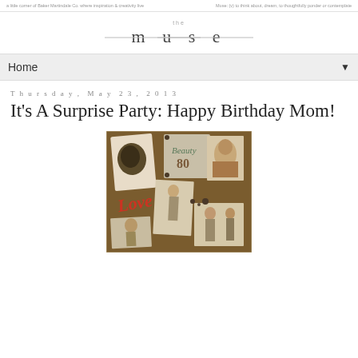a little corner of Baker Martindale Co. where inspiration & creativity live | Muse: (v) to think about, dream, to thoughtfully ponder or contemplate
[Figure (logo): The Muse blog logo with decorative lines]
Home
Thursday, May 23, 2013
It's A Surprise Party: Happy Birthday Mom!
[Figure (photo): Vintage photo scrapbook collage with old photographs, text 'Beauty 80' and 'Love' on a brown background]